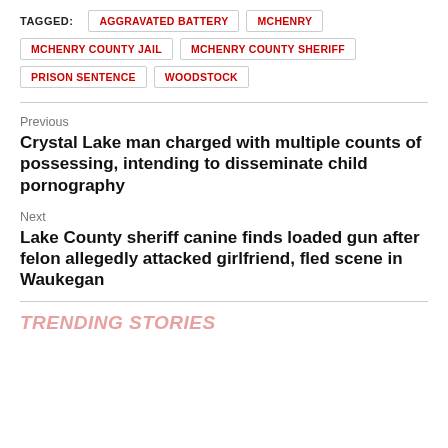TAGGED:
AGGRAVATED BATTERY
MCHENRY
MCHENRY COUNTY JAIL
MCHENRY COUNTY SHERIFF
PRISON SENTENCE
WOODSTOCK
Previous
Crystal Lake man charged with multiple counts of possessing, intending to disseminate child pornography
Next
Lake County sheriff canine finds loaded gun after felon allegedly attacked girlfriend, fled scene in Waukegan
TRENDING STORIES